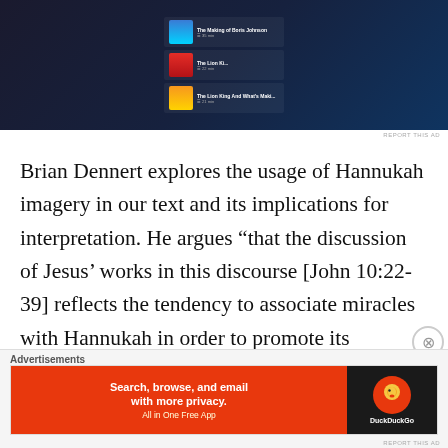[Figure (screenshot): Spotify-like music app interface showing playlist items including 'The Making of Boris Johnson' and 'The Lion Ki...' and 'The Lion King And What's Maki...' against dark background]
REPORT THIS AD
Brian Dennert explores the usage of Hannukah imagery in our text and its implications for interpretation. He argues “that the discussion of Jesus’ works in this discourse [John 10:22-39] reflects the tendency to associate miracles with Hannukah in order to promote its observance” (page 451). Dennert tracks the trajectory of that association with miracles in Jewish documents from the centuries before the writing of the Johannine account to those after. The Johannine emphasis is consistent with and serves as a part of that miracle-
Advertisements
[Figure (screenshot): DuckDuckGo advertisement banner: orange section reads 'Search, browse, and email with more privacy. All in One Free App' with DuckDuckGo logo on dark right panel]
REPORT THIS AD